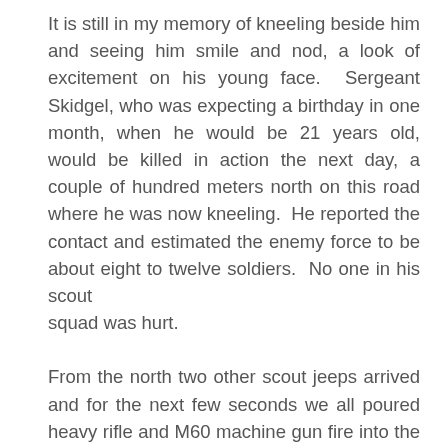It is still in my memory of kneeling beside him and seeing him smile and nod, a look of excitement on his young face. Sergeant Skidgel, who was expecting a birthday in one month, when he would be 21 years old, would be killed in action the next day, a couple of hundred meters north on this road where he was now kneeling. He reported the contact and estimated the enemy force to be about eight to twelve soldiers. No one in his scout squad was hurt.

From the north two other scout jeeps arrived and for the next few seconds we all poured heavy rifle and M60 machine gun fire into the suspected enemy positions. We stopped firing